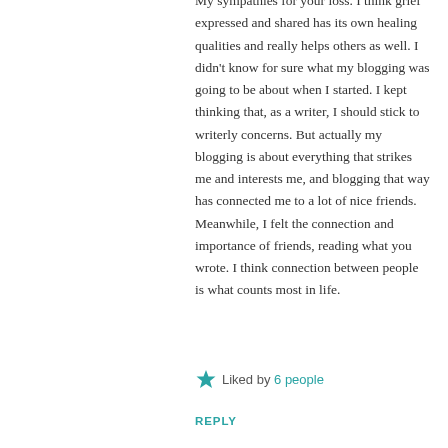My sympathies for your loss. I think grief expressed and shared has its own healing qualities and really helps others as well. I didn't know for sure what my blogging was going to be about when I started. I kept thinking that, as a writer, I should stick to writerly concerns. But actually my blogging is about everything that strikes me and interests me, and blogging that way has connected me to a lot of nice friends. Meanwhile, I felt the connection and importance of friends, reading what you wrote. I think connection between people is what counts most in life.
Liked by 6 people
REPLY